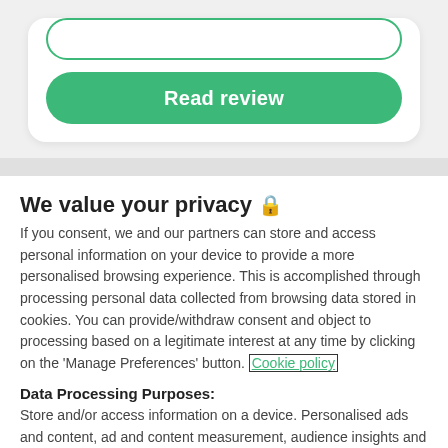[Figure (screenshot): Top card UI element with green rounded input outline and a green 'Read review' button]
We value your privacy 🔒
If you consent, we and our partners can store and access personal information on your device to provide a more personalised browsing experience. This is accomplished through processing personal data collected from browsing data stored in cookies. You can provide/withdraw consent and object to processing based on a legitimate interest at any time by clicking on the 'Manage Preferences' button. Cookie policy
Data Processing Purposes:
Store and/or access information on a device. Personalised ads and content, ad and content measurement, audience insights and product development.
List of Partners (vendors)
Accept
Manage settings